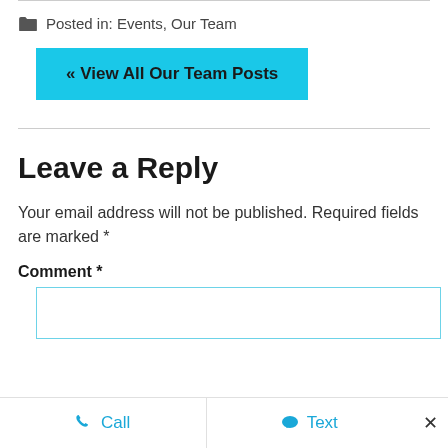Posted in: Events, Our Team
« View All Our Team Posts
Leave a Reply
Your email address will not be published. Required fields are marked *
Comment *
Call   Text   ×